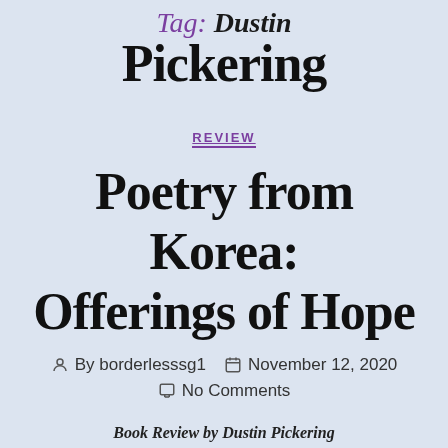Tag: Dustin Pickering
REVIEW
Poetry from Korea: Offerings of Hope
By borderlesssg1   November 12, 2020   No Comments
Book Review by Dustin Pickering